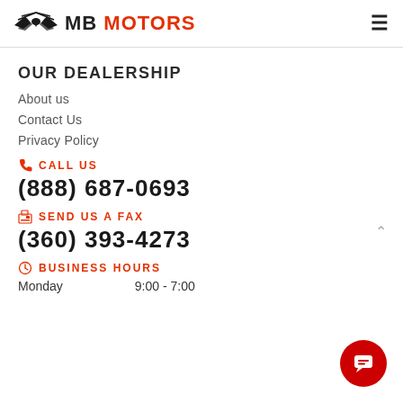MB MOTORS
OUR DEALERSHIP
About us
Contact Us
Privacy Policy
CALL US (888) 687-0693
SEND US A FAX (360) 393-4273
BUSINESS HOURS Monday 9:00 - 7:00